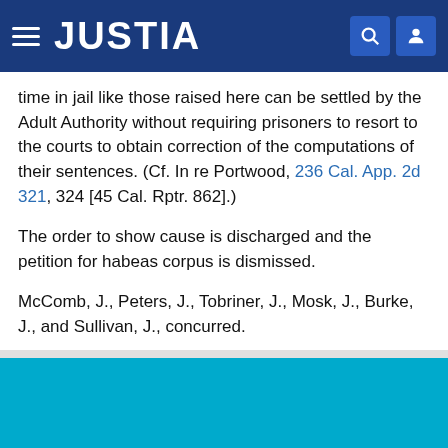JUSTIA
time in jail like those raised here can be settled by the Adult Authority without requiring prisoners to resort to the courts to obtain correction of the computations of their sentences. (Cf. In re Portwood, 236 Cal. App. 2d 321, 324 [45 Cal. Rptr. 862].)
The order to show cause is discharged and the petition for habeas corpus is dismissed.
McComb, J., Peters, J., Tobriner, J., Mosk, J., Burke, J., and Sullivan, J., concurred.